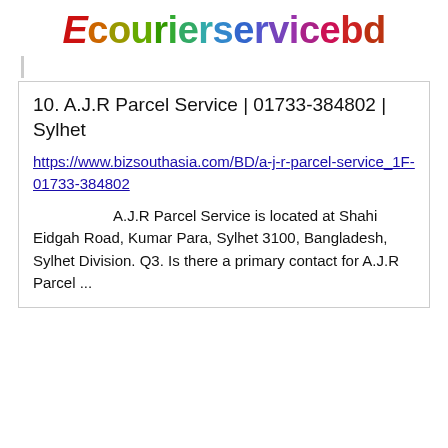[Figure (logo): Ecourierservicebd logo with stylized red E and multicolored text]
10. A.J.R Parcel Service | 01733-384802 | Sylhet
https://www.bizsouthasia.com/BD/a-j-r-parcel-service_1F-01733-384802
A.J.R Parcel Service is located at Shahi Eidgah Road, Kumar Para, Sylhet 3100, Bangladesh, Sylhet Division. Q3. Is there a primary contact for A.J.R Parcel ...